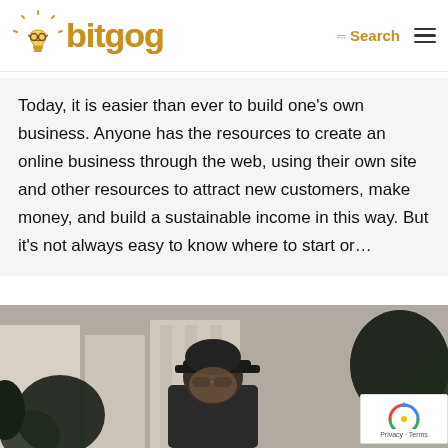bitgog — Search / Menu
Today, it is easier than ever to build one's own business. Anyone has the resources to create an online business through the web, using their own site and other resources to attract new customers, make money, and build a sustainable income in this way. But it's not always easy to know where to start or...
[Figure (photo): A person wearing a black cap and sunglasses, photographed outdoors against an architectural background with plants in the foreground]